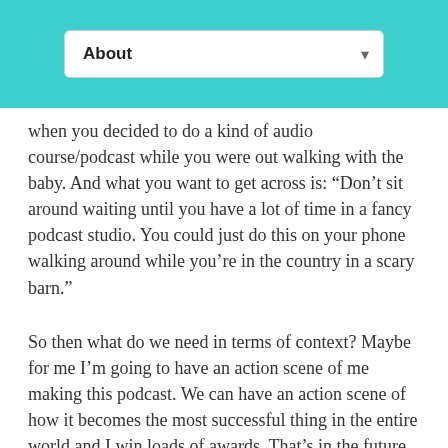About
when you decided to do a kind of audio course/podcast while you were out walking with the baby. And what you want to get across is: “Don’t sit around waiting until you have a lot of time in a fancy podcast studio. You could just do this on your phone walking around while you’re in the country in a scary barn.”
So then what do we need in terms of context? Maybe for me I’m going to have an action scene of me making this podcast. We can have an action scene of how it becomes the most successful thing in the entire world and I win loads of awards. That’s in the future from now. ((It’s probably not going to happen. That’s fine.))